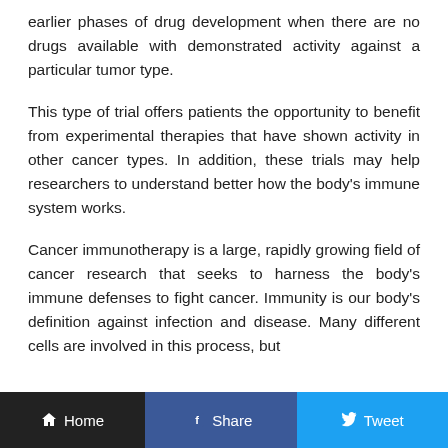earlier phases of drug development when there are no drugs available with demonstrated activity against a particular tumor type.
This type of trial offers patients the opportunity to benefit from experimental therapies that have shown activity in other cancer types. In addition, these trials may help researchers to understand better how the body's immune system works.
Cancer immunotherapy is a large, rapidly growing field of cancer research that seeks to harness the body's immune defenses to fight cancer. Immunity is our body's definition against infection and disease. Many different cells are involved in this process, but
Home  Share  Tweet